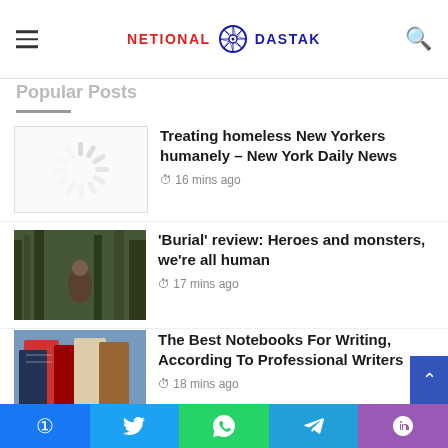NETIONAL DASTAK
Popular Posts
Treating homeless New Yorkers humanely – New York Daily News | 16 mins ago
'Burial' review: Heroes and monsters, we're all human | 17 mins ago
The Best Notebooks For Writing, According To Professional Writers | 18 mins ago
President Biden to focus on economic investment amid positive economic signs, including lower gas prices